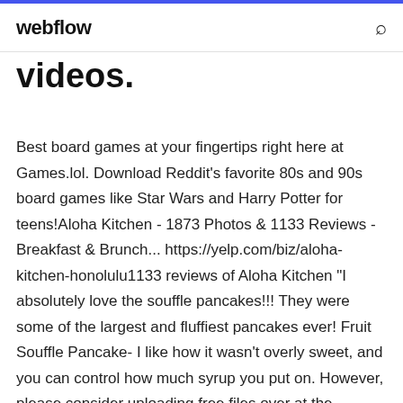webflow
videos.
Best board games at your fingertips right here at Games.lol. Download Reddit's favorite 80s and 90s board games like Star Wars and Harry Potter for teens!Aloha Kitchen - 1873 Photos & 1133 Reviews - Breakfast & Brunch... https://yelp.com/biz/aloha-kitchen-honolulu1133 reviews of Aloha Kitchen "I absolutely love the souffle pancakes!!! They were some of the largest and fluffiest pancakes ever! Fruit Souffle Pancake- I like how it wasn't overly sweet, and you can control how much syrup you put on. However, please consider uploading free files over at the Wikimedia